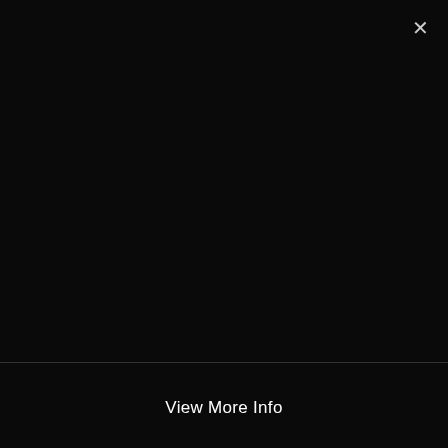[Figure (screenshot): Dark/black background UI overlay with a close (X) button in the top-right corner, a horizontal divider line near the bottom, and a 'View More Info' text button at the bottom center.]
×
View More Info